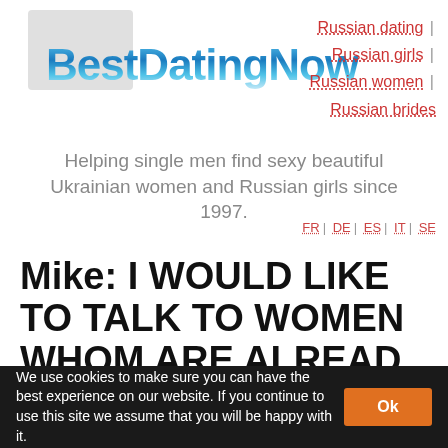[Figure (logo): BestDatingNow logo with blue gradient text and grey background rectangle]
Russian dating | Russian girls | Russian women | Russian brides
Helping single men find sexy beautiful Ukrainian women and Russian girls since 1997.
FR | DE | ES | IT | SE
Mike: I WOULD LIKE TO TALK TO WOMEN WHOM ARE ALREAD
We use cookies to make sure you can have the best experience on our website. If you continue to use this site we assume that you will be happy with it. Ok